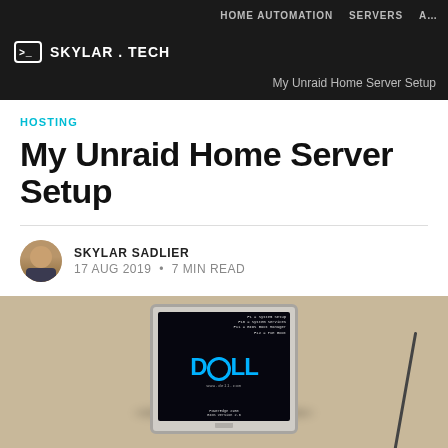HOME AUTOMATION   SERVERS   A…
SKYLAR.TECH
My Unraid Home Server Setup
HOSTING
My Unraid Home Server Setup
SKYLAR SADLIER
17 AUG 2019 • 7 MIN READ
[Figure (photo): Dell computer monitor showing BIOS boot screen with Dell logo in blue on black background, on a beige/tan surface with a cable visible on the right.]